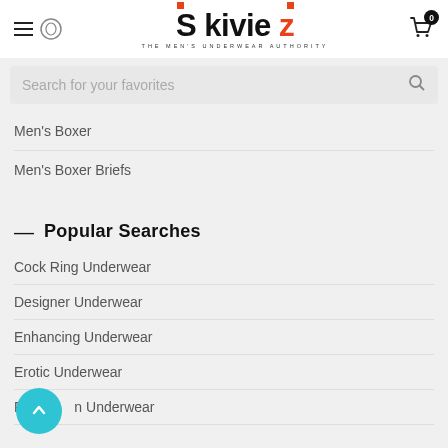[Figure (logo): Skiviez - The Men's Underwear Authority logo with hamburger menu and cart icon]
Search for your favorites
Men's Boxer
Men's Boxer Briefs
— Popular Searches
Cock Ring Underwear
Designer Underwear
Enhancing Underwear
Erotic Underwear
Fashion Underwear